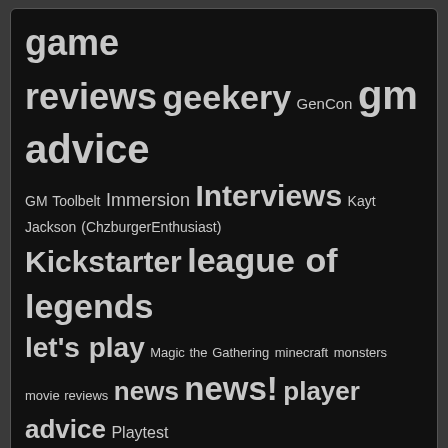[Figure (infographic): Tag cloud on dark background showing gaming/blog tags of varying sizes: game reviews, geekery, GenCon, gm advice, GM Toolbelt, Immersion, Interviews, Kayt Jackson (ChzburgerEnthusiast), Kickstarter, league of legends, let's play, Magic the Gathering, minecraft, monsters, movie reviews, news, news!, player advice, Playtest, Podcasts, press release, rants, retro games, reviews, Risk of Rain, RPG, Sci Fi, settings, The Avengers, video games]
CarpeGM by Dan Whorl is licensed under a Creative Commons Attribution-NonCommercial-ShareAlike 4.0 International License. Based on a work at https://carpegm.net/. Permissions beyond the scope of this license may be available at https://carpegm.net/.
Suffusion theme by Sayontan Sinha